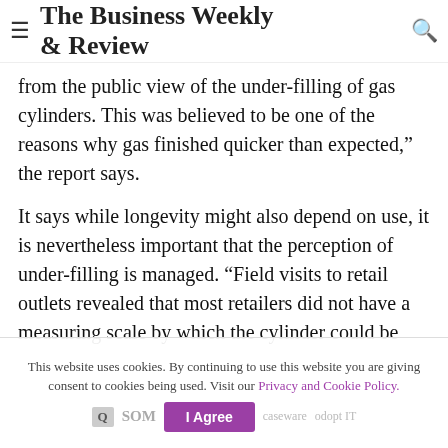The Business Weekly & Review
from the public view of the under-filling of gas cylinders. This was believed to be one of the reasons why gas finished quicker than expected," the report says.
It says while longevity might also depend on use, it is nevertheless important that the perception of under-filling is managed. “Field visits to retail outlets revealed that most retailers did not have a measuring scale by which the cylinder could be weighed as a form of verification that indeed the gas sold to a customer was of the right quantity,” the report notes. “None of the ‘bakkie boys’ carried a scale when they delivered the gas to households
There is need for resellers of LPG to possess some
This website uses cookies. By continuing to use this website you are giving consent to cookies being used. Visit our Privacy and Cookie Policy.